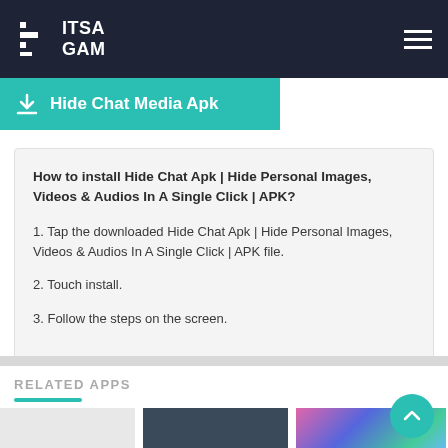ITSA GAM
Hide Chat Media Apk
How to install Hide Chat Apk | Hide Personal Images, Videos & Audios In A Single Click | APK?
1. Tap the downloaded Hide Chat Apk | Hide Personal Images, Videos & Audios In A Single Click | APK file.
2. Touch install.
3. Follow the steps on the screen.
RELATED APPS